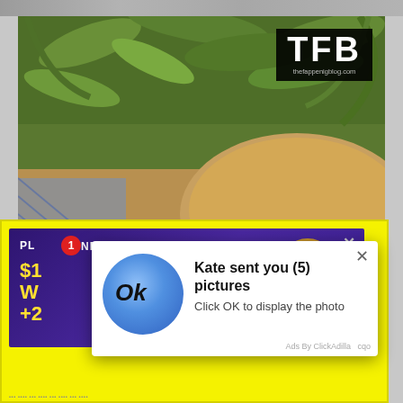[Figure (photo): Screenshot of a webpage showing a woman with sunglasses and dark hair outdoors near rocks and tropical plants. A TFB logo appears in the top-right corner. An advertisement popup for Planet 7 Casino overlays the bottom portion, and a notification popup states 'Kate sent you (5) pictures — Click OK to display the photo'.]
TFB
thefappenigblog.com
PLANET 7 CASINO
Kate sent you (5) pictures
Click OK to display the photo
Ads By ClickAdilla  cqo